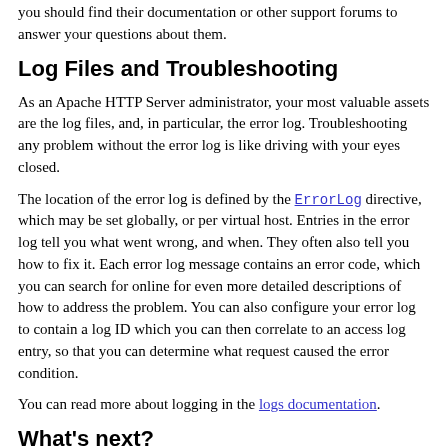you should find their documentation or other support forums to answer your questions about them.
Log Files and Troubleshooting
As an Apache HTTP Server administrator, your most valuable assets are the log files, and, in particular, the error log. Troubleshooting any problem without the error log is like driving with your eyes closed.
The location of the error log is defined by the ErrorLog directive, which may be set globally, or per virtual host. Entries in the error log tell you what went wrong, and when. They often also tell you how to fix it. Each error log message contains an error code, which you can search for online for even more detailed descriptions of how to address the problem. You can also configure your error log to contain a log ID which you can then correlate to an access log entry, so that you can determine what request caused the error condition.
You can read more about logging in the logs documentation.
What's next?